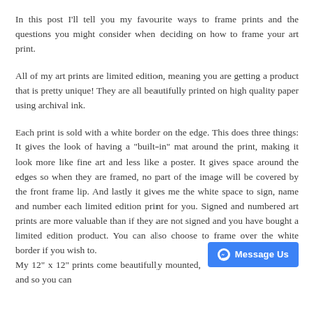In this post I'll tell you my favourite ways to frame prints and the questions you might consider when deciding on how to frame your art print.
All of my art prints are limited edition, meaning you are getting a product that is pretty unique! They are all beautifully printed on high quality paper using archival ink.
Each print is sold with a white border on the edge. This does three things: It gives the look of having a "built-in" mat around the print, making it look more like fine art and less like a poster. It gives space around the edges so when they are framed, no part of the image will be covered by the front frame lip. And lastly it gives me the white space to sign, name and number each limited edition print for you. Signed and numbered art prints are more valuable than if they are not signed and you have bought a limited edition product. You can also choose to frame over the white border if you wish to.
My 12" x 12" prints come beautifully mounted, and so you can